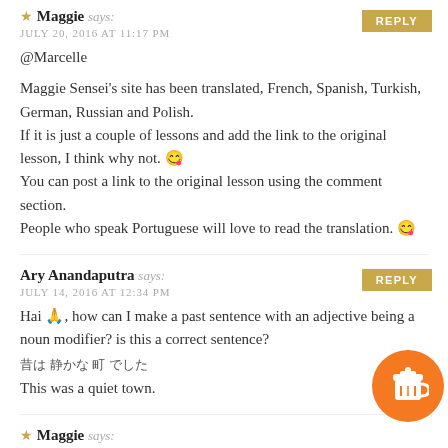★ Maggie says: JULY 20, 2016 AT 11:17 PM
@Marcelle
Maggie Sensei's site has been translated, French, Spanish, Turkish, German, Russian and Polish.
If it is just a couple of lessons and add the link to the original lesson, I think why not. 😋
You can post a link to the original lesson using the comment section.
People who speak Portuguese will love to read the translation. 😋
Ary Anandaputra says: JULY 14, 2016 AT 12:34 PM
Hai 先生, how can I make a past sentence with an adjective being a noun modifier? is this a correct sentence?
昔は 静かな 町 でした
This was a quiet town.
★ Maggie says: JULY 20, 2016 AT 11:27 PM
@Ary Anandaputra